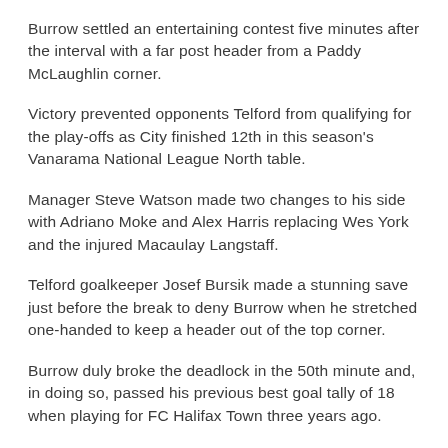Burrow settled an entertaining contest five minutes after the interval with a far post header from a Paddy McLaughlin corner.
Victory prevented opponents Telford from qualifying for the play-offs as City finished 12th in this season's Vanarama National League North table.
Manager Steve Watson made two changes to his side with Adriano Moke and Alex Harris replacing Wes York and the injured Macaulay Langstaff.
Telford goalkeeper Josef Bursik made a stunning save just before the break to deny Burrow when he stretched one-handed to keep a header out of the top corner.
Burrow duly broke the deadlock in the 50th minute and, in doing so, passed his previous best goal tally of 18 when playing for FC Halifax Town three years ago.
McLaughlin nearly doubled the lead in the 69th minute